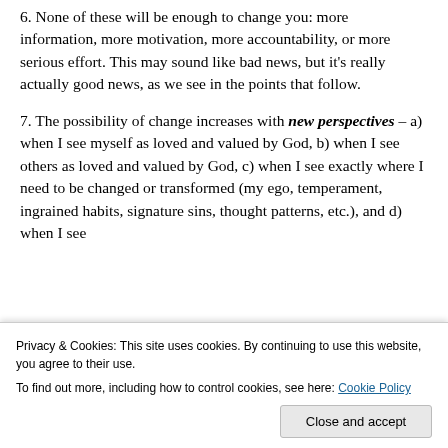6. None of these will be enough to change you: more information, more motivation, more accountability, or more serious effort. This may sound like bad news, but it's really actually good news, as we see in the points that follow.
7. The possibility of change increases with new perspectives – a) when I see myself as loved and valued by God, b) when I see others as loved and valued by God, c) when I see exactly where I need to be changed or transformed (my ego, temperament, ingrained habits, signature sins, thought patterns, etc.), and d) when I see that God is in the process enabling…
Privacy & Cookies: This site uses cookies. By continuing to use this website, you agree to their use. To find out more, including how to control cookies, see here: Cookie Policy
Close and accept